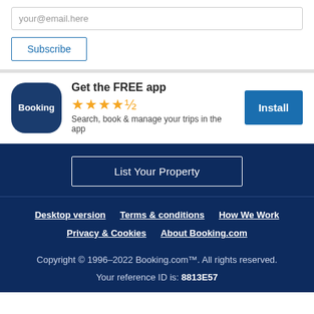your@email.here
Subscribe
[Figure (logo): Booking.com app icon — dark navy rounded square with 'Booking' text in white]
Get the FREE app
★★★★½
Search, book & manage your trips in the app
Install
List Your Property
Desktop version   Terms & conditions   How We Work   Privacy & Cookies   About Booking.com
Copyright © 1996–2022 Booking.com™. All rights reserved.
Your reference ID is: 8813E57